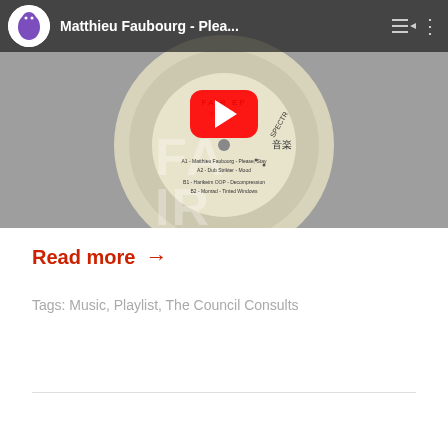[Figure (screenshot): YouTube embedded video player showing a vinyl record for 'FAIR EP' by Matthieu Faubourg with a play button overlay. Top bar shows avatar icon, title 'Matthieu Faubourg - Plea...' and menu icons.]
Read more →
Tags: Music, Playlist, The Council Consults